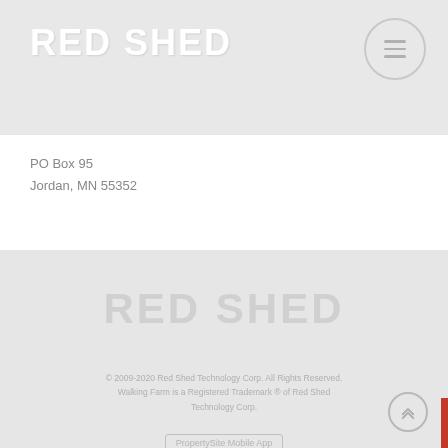RED SHED
PO Box 95
Jordan, MN 55352
RED SHED
© 2009-2020 Red Shed Technology Corp. All Rights Reserved. Walking Farm is a Registered Trademark ® of Red Shed Technology Corp.
PropertySite Mobile App